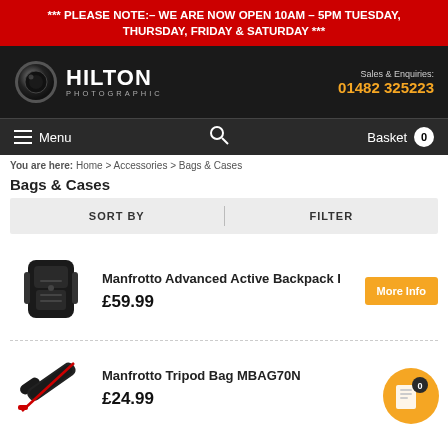*** PLEASE NOTE:– WE ARE NOW OPEN 10AM – 5PM TUESDAY, THURSDAY, FRIDAY & SATURDAY ***
[Figure (logo): Hilton Photographic logo with camera lens icon and contact info: Sales & Enquiries 01482 325223]
Menu | Search | Basket 0
You are here: Home > Accessories > Bags & Cases
Bags & Cases
SORT BY | FILTER
Manfrotto Advanced Active Backpack I
£59.99
Manfrotto Tripod Bag MBAG70N
£24.99